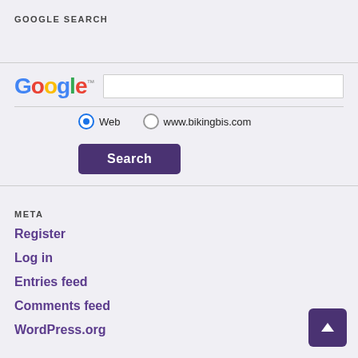GOOGLE SEARCH
[Figure (screenshot): Google search widget with logo, text input field, Web and www.bikingbis.com radio buttons, and a Search button]
META
Register
Log in
Entries feed
Comments feed
WordPress.org